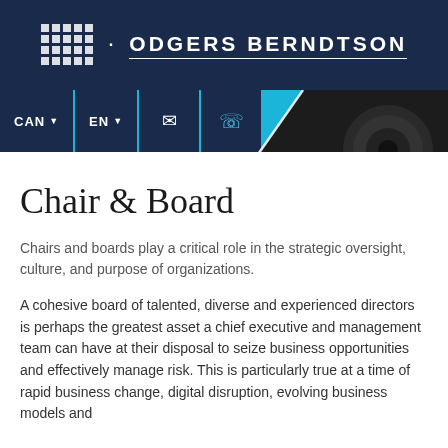ODGERS BERNDTSON
[Figure (screenshot): Navigation bar with CAN, EN dropdowns, email and phone icons, and search/menu icons on the right]
[Figure (photo): Dark photo of what appears to be camera lenses or mechanical equipment, displayed in a diagonal polygon shape on the right side]
Chair & Board
Chairs and boards play a critical role in the strategic oversight, culture, and purpose of organizations.
A cohesive board of talented, diverse and experienced directors is perhaps the greatest asset a chief executive and management team can have at their disposal to seize business opportunities and effectively manage risk. This is particularly true at a time of rapid business change, digital disruption, evolving business models and